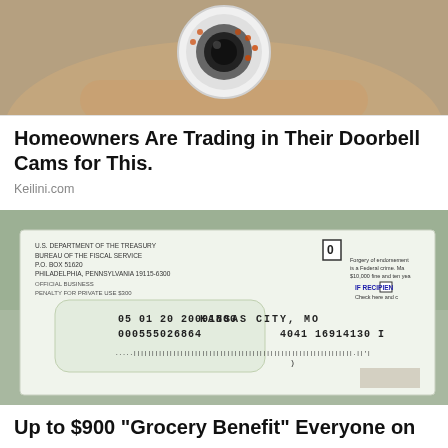[Figure (photo): A hand holding a white dome-shaped security camera]
Homeowners Are Trading in Their Doorbell Cams for This.
Keilini.com
[Figure (photo): A government envelope from the Bureau of the Fiscal Service, P.O. Box 51620, Philadelphia PA 19115-6300, addressed to Kansas City MO, showing numbers 05 01 20 20091800, 000555026864, 4041 16914130 I, with barcode and forgery warning]
Up to $900 "Grocery Benefit" Everyone on